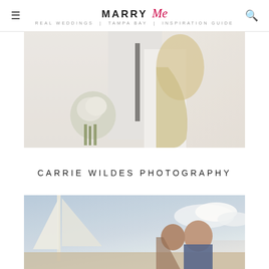MARRY Me TAMPA BAY
[Figure (photo): Wedding couple photo: bride holding white bouquet of roses, wearing white dress with veil, groom in white shirt with dark tie, posed against white brick wall]
CARRIE WILDES PHOTOGRAPHY
[Figure (photo): Wedding couple kissing outdoors near a sailboat with blue sky and clouds in the background, groom in dark suit]